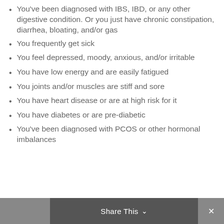You've been diagnosed with IBS, IBD, or any other digestive condition. Or you just have chronic constipation, diarrhea, bloating, and/or gas
You frequently get sick
You feel depressed, moody, anxious, and/or irritable
You have low energy and are easily fatigued
You joints and/or muscles are stiff and sore
You have heart disease or are at high risk for it
You have diabetes or are pre-diabetic
You've been diagnosed with PCOS or other hormonal imbalances
Share This ∨  ✕